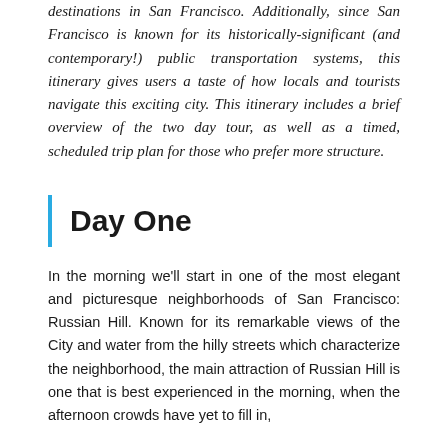destinations in San Francisco. Additionally, since San Francisco is known for its historically-significant (and contemporary!) public transportation systems, this itinerary gives users a taste of how locals and tourists navigate this exciting city. This itinerary includes a brief overview of the two day tour, as well as a timed, scheduled trip plan for those who prefer more structure.
Day One
In the morning we'll start in one of the most elegant and picturesque neighborhoods of San Francisco: Russian Hill. Known for its remarkable views of the City and water from the hilly streets which characterize the neighborhood, the main attraction of Russian Hill is one that is best experienced in the morning, when the afternoon crowds have yet to fill in,